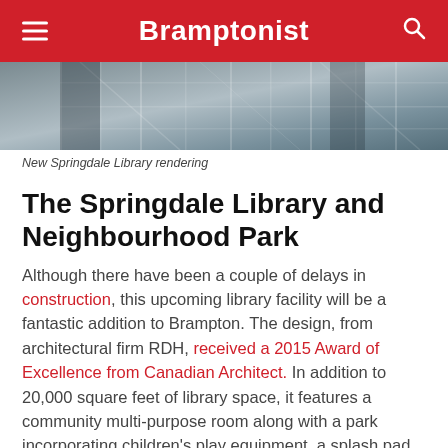Bramptonist
[Figure (photo): Partial view of New Springdale Library building rendering showing glass facade and structural elements]
New Springdale Library rendering
The Springdale Library and Neighbourhood Park
Although there have been a couple of delays in construction, this upcoming library facility will be a fantastic addition to Brampton. The design, from architectural firm RDH, received a 2015 Award of Excellence from Canadian Architect. In addition to 20,000 square feet of library space, it features a community multi-purpose room along with a park incorporating children's play equipment, a splash pad, and a contemplative garden. There will be parking at the rear of the